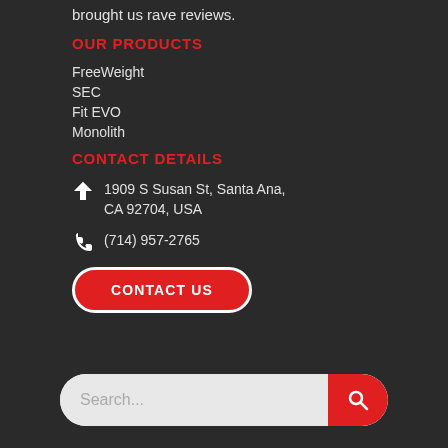brought us rave reviews.
OUR PRODUCTS
FreeWeight
SEC
Fit EVO
Monolith
CONTACT DETAILS
1909 S Susan St, Santa Ana, CA 92704, USA
(714) 957-2765
CONTACT US
Search...